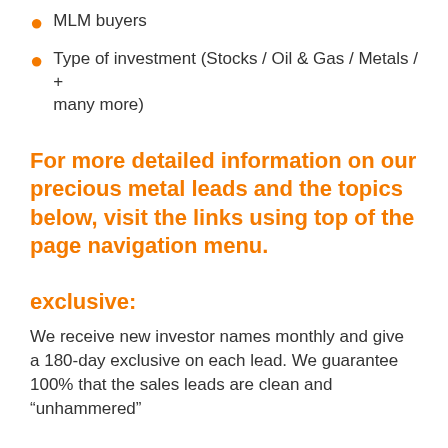MLM buyers
Type of investment (Stocks / Oil & Gas / Metals / + many more)
For more detailed information on our precious metal leads and the topics below, visit the links using top of the page navigation menu.
exclusive:
We receive new investor names monthly and give a 180-day exclusive on each lead. We guarantee 100% that the sales leads are clean and “unhammered”